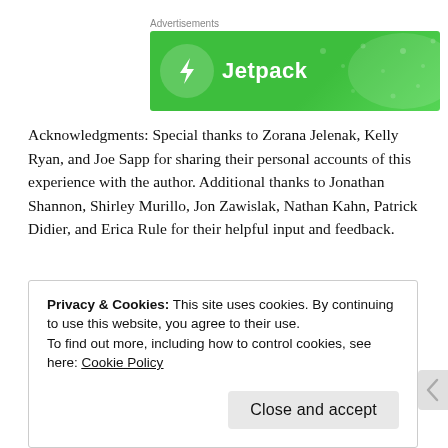Advertisements
[Figure (illustration): Jetpack advertisement banner with green background, circular logo with lightning bolt, and 'Jetpack' text in white]
Acknowledgments: Special thanks to Zorana Jelenak, Kelly Ryan, and Joe Sapp for sharing their personal accounts of this experience with the author. Additional thanks to Jonathan Shannon, Shirley Murillo, Jon Zawislak, Nathan Kahn, Patrick Didier, and Erica Rule for their helpful input and feedback.
Privacy & Cookies: This site uses cookies. By continuing to use this website, you agree to their use.
To find out more, including how to control cookies, see here: Cookie Policy
Close and accept